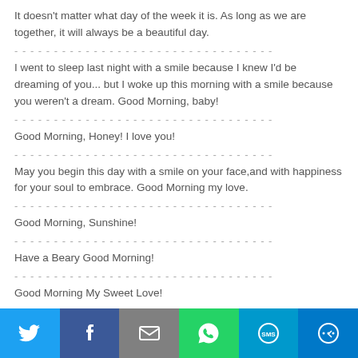It doesn't matter what day of the week it is. As long as we are together, it will always be a beautiful day.
I went to sleep last night with a smile because I knew I'd be dreaming of you... but I woke up this morning with a smile because you weren't a dream. Good Morning, baby!
Good Morning, Honey! I love you!
May you begin this day with a smile on your face,and with happiness for your soul to embrace. Good Morning my love.
Good Morning, Sunshine!
Have a Beary Good Morning!
Good Morning My Sweet Love!
[Figure (infographic): Social share bar with Twitter, Facebook, Email, WhatsApp, SMS, and More buttons]